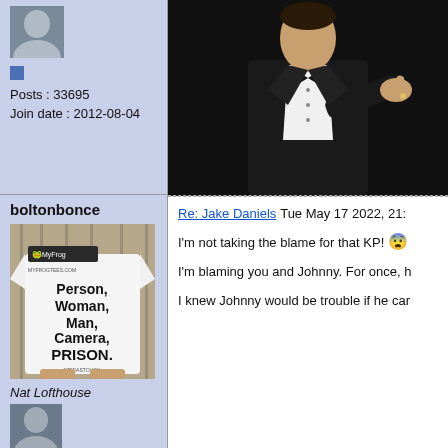Posts : 33695
Join date : 2012-08-04
[Figure (photo): Man in tuxedo pointing finger against dark background]
boltonbonce
[Figure (photo): Person wearing white t-shirt reading 'Person, Woman, Man, Camera, PRISON.' with MyFrog and MeidasTouch branding]
Nat Lofthouse
Re: Jake Daniels Tue May 17 2022, 21:
I'm not taking the blame for that KP! 😨
I'm blaming you and Johnny. For once, h
I knew Johnny would be trouble if he car